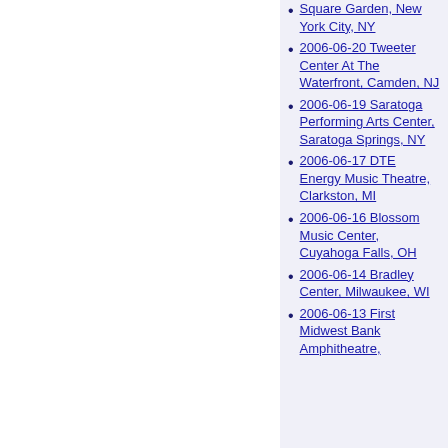Square Garden, New York City, NY
2006-06-20 Tweeter Center At The Waterfront, Camden, NJ
2006-06-19 Saratoga Performing Arts Center, Saratoga Springs, NY
2006-06-17 DTE Energy Music Theatre, Clarkston, MI
2006-06-16 Blossom Music Center, Cuyahoga Falls, OH
2006-06-14 Bradley Center, Milwaukee, WI
2006-06-13 First Midwest Bank Amphitheatre,